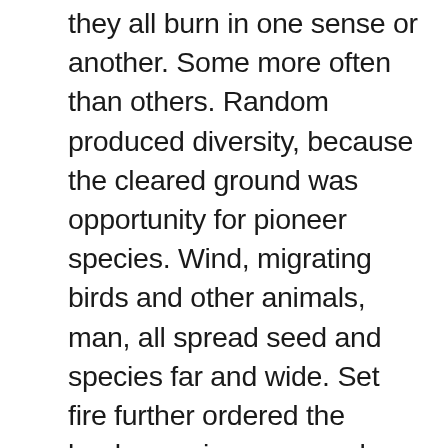they all burn in one sense or another. Some more often than others. Random produced diversity, because the cleared ground was opportunity for pioneer species. Wind, migrating birds and other animals, man, all spread seed and species far and wide. Set fire further ordered the landscape in a non random way. So there were two overlapping management processes in play: one random and one ordered. The product was the vast “old growth” (cumulative survivors of centuries of fire events plus the growth since the last fire or fires) forest where you could walk in relative comfort for miles, could see potential food or